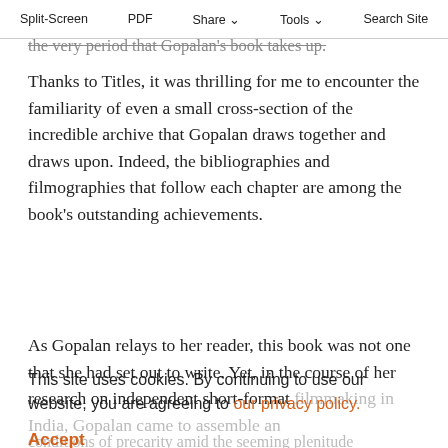Split-Screen  PDF  Share  Tools  Search Site
the very period that Gopalan's book takes up.
Thanks to Titles, it was thrilling for me to encounter the familiarity of even a small cross-section of the incredible archive that Gopalan draws together and draws upon. Indeed, the bibliographies and filmographies that follow each chapter are among the book's outstanding achievements.
As Gopalan relays to her reader, this book was not one that she had set out to write. Yet, in the course of her research on independent short-format filmmaking in India, Gopalan came to assemble an...
This site uses cookies. By continuing to use our website, you are agreeing to our privacy policy.
Accept
conditions of precarity amid the seeming plenitude...